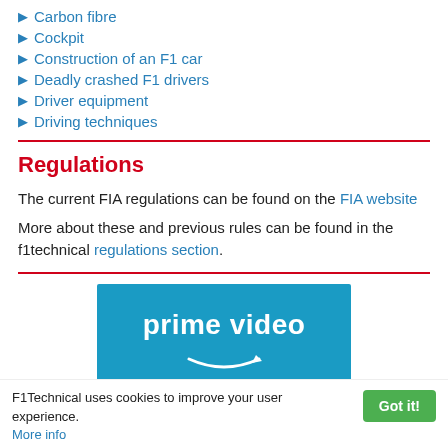Carbon fibre
Cockpit
Construction of an F1 car
Deadly crashed F1 drivers
Driver equipment
Driving techniques
Regulations
The current FIA regulations can be found on the FIA website
More about these and previous rules can be found in the f1technical regulations section.
[Figure (logo): Amazon Prime Video banner advertisement with blue background, white 'prime video' text and Amazon arrow logo]
F1Technical uses cookies to improve your user experience. More info